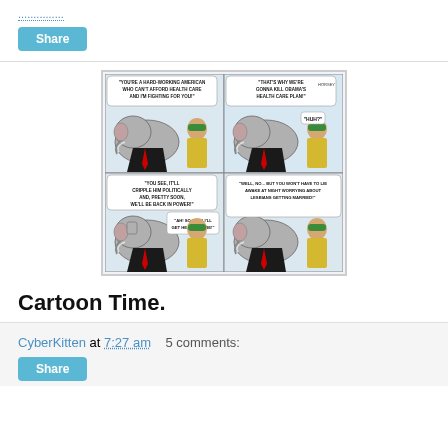Share
[Figure (illustration): A four-panel political cartoon featuring an elephant (Republican symbol) in a suit with a red tie, and a hard-working American man in a green cap and yellow shirt. Panel 1: Elephant says 'You're a hard-working American who can't afford health care and I'm fighting for you!' Panel 2: Elephant says 'That's why we're gonna kill Obama's health care plan!' Man says 'Huh?' Panel 3: Elephant says 'You see, it'll cripple him politically and, pretty soon, we'll be back in power!' Man says 'Ah! So then I'll get health care!' Panel 4: Elephant says 'Well, no... but you won't have to lie awake at night worrying about lesbians getting married!']
Cartoon Time.
CyberKitten at 7:27 am   5 comments:
Share